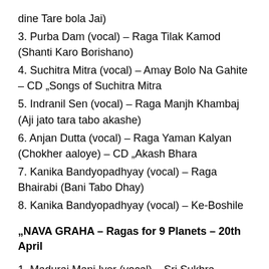dine Tare bola Jai)
3. Purba Dam (vocal) – Raga Tilak Kamod (Shanti Karo Borishano)
4. Suchitra Mitra (vocal) – Amay Bolo Na Gahite – CD „Songs of Suchitra Mitra
5. Indranil Sen (vocal) – Raga Manjh Khambaj (Aji jato tara tabo akashe)
6. Anjan Dutta (vocal) – Raga Yaman Kalyan (Chokher aaloye) – CD „Akash Bhara
7. Kanika Bandyopadhyay (vocal) – Raga Bhairabi (Bani Tabo Dhay)
8. Kanika Bandyopadhyay (vocal) – Ke-Boshile
„NAVA GRAHA – Ragas for 9 Planets – 20th April
1. Madurai Mani Iyer (vocal) – Sri Sukhra Bhagavantham – CD The Stalwart (1968, AVM Audio)